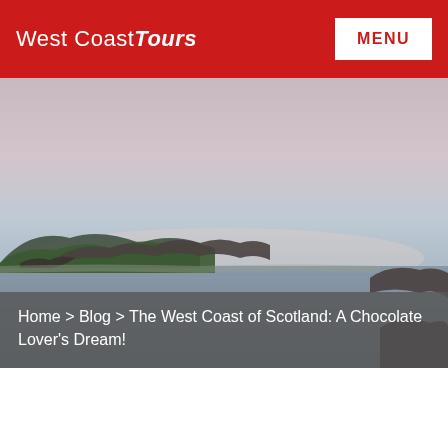West CoastTours
[Figure (photo): Coastal landscape photo showing a calm sea with rocky outcrops and hills in the background under a dusky pink-grey sky, West Coast of Scotland.]
Home > Blog > The West Coast of Scotland: A Chocolate Lover's Dream!